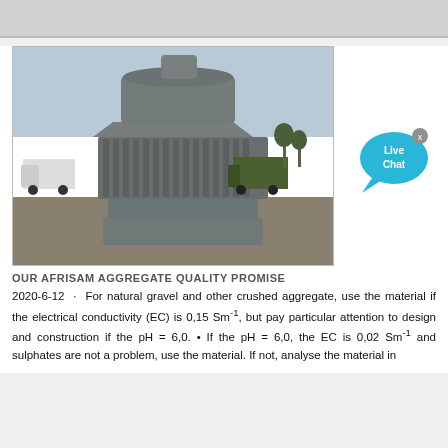[Figure (photo): Front view of a large grey cone crusher machine sitting outdoors on a gravel yard. The machine has a cylindrical top section with a wide flared middle section featuring vertical ribbing and heavy base structure. Background shows construction vehicles and trees.]
OUR AFRISAM AGGREGATE QUALITY PROMISE
2020-6-12 · For natural gravel and other crushed aggregate, use the material if the electrical conductivity (EC) is 0,15 Sm⁻¹, but pay particular attention to design and construction if the pH = 6,0. • If the pH = 6,0, the EC is 0,02 Sm⁻¹ and sulphates are not a problem, use the material. If not, analyse the material in